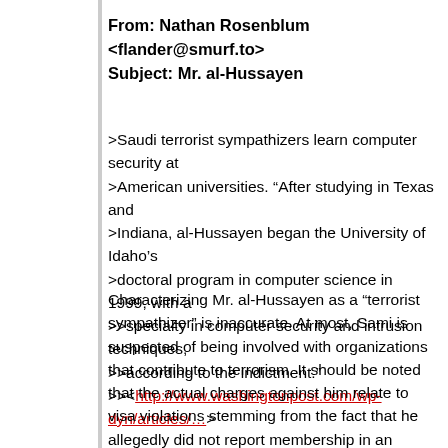From: Nathan Rosenblum <flander@smurf.to>
Subject: Mr. al-Hussayen
>Saudi terrorist sympathizers learn computer security at
>American universities. “After studying in Texas and
>Indiana, al-Hussayen began the University of Idaho’s
>doctoral program in computer science in 1999, with a
>specialty in computer security and intrusion techniques,
>according to the indictment."
><http://www.washingtonpost.com/wp-dyn/articles/…>
Characterizing Mr. al-Hussayen as a “terrorist sympathizer” is inaccurate. At most, Sami is suspected of being involved with organizations that contribute to terrorism. It should be noted that the actual charges against him relate to visa violations stemming from the fact that he allegedly did not report membership in an organization while applying for a visa. Additionally, he is accused of working for the IANA while studying at the University of Idaho (persons holding student visas